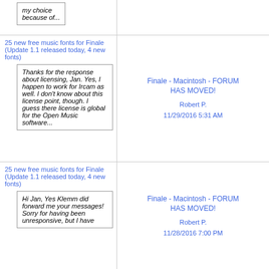my choice because of...
25 new free music fonts for Finale (Update 1.1 released today, 4 new fonts)
Thanks for the response about licensing, Jan. Yes, I happen to work for Ircam as well. I don't know about this license point, though. I guess there license is global for the Open Music software...
Finale - Macintosh - FORUM HAS MOVED!
Robert P. 11/29/2016 5:31 AM
25 new free music fonts for Finale (Update 1.1 released today, 4 new fonts)
Hi Jan, Yes Klemm did forward me your messages! Sorry for having been unresponsive, but I have
Finale - Macintosh - FORUM HAS MOVED!
Robert P. 11/28/2016 7:00 PM